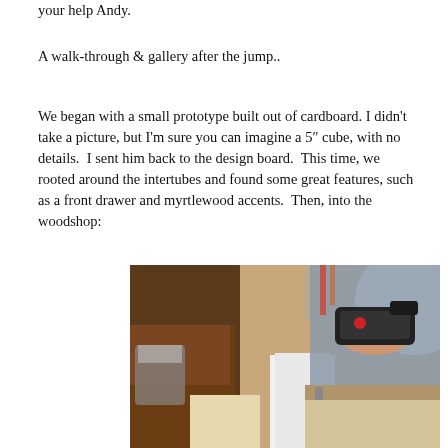your help Andy.
A walk-through & gallery after the jump..
We began with a small prototype built out of cardboard. I didn't take a picture, but I'm sure you can imagine a 5" cube, with no details. I sent him back to the design board. This time, we rooted around the intertubes and found some great features, such as a front drawer and myrtlewood accents. Then, into the woodshop:
[Figure (photo): Person holding a power tool (sander or similar) over a white wooden panel in a woodshop setting. Woodworking tools and storage visible in background.]